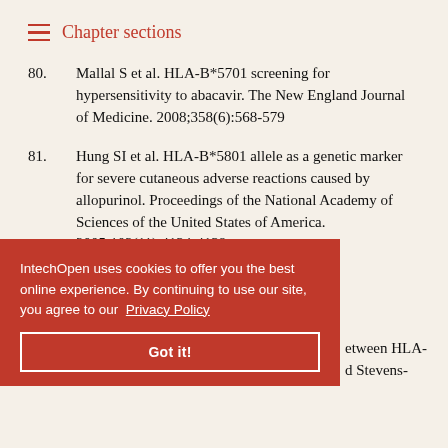Chapter sections
80. Mallal S et al. HLA-B*5701 screening for hypersensitivity to abacavir. The New England Journal of Medicine. 2008;358(6):568-579
81. Hung SI et al. HLA-B*5801 allele as a genetic marker for severe cutaneous adverse reactions caused by allopurinol. Proceedings of the National Academy of Sciences of the United States of America. 2005;102(11):4134-4139
etween HLA- d Stevens- rmal se patients. nacology.
IntechOpen uses cookies to offer you the best online experience. By continuing to use our site, you agree to our Privacy Policy
Got it!